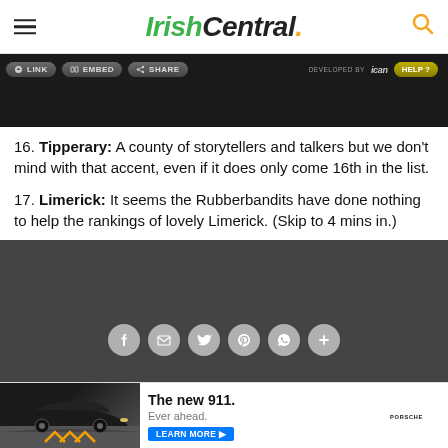IrishCentral.
[Figure (screenshot): Video player toolbar with Link, Embed, Share buttons and Developed by iCan branding and Help button on dark background]
16. Tipperary: A county of storytellers and talkers but we don't mind with that accent, even if it does only come 16th in the list.
17. Limerick: It seems the Rubberbandits have done nothing to help the rankings of lovely Limerick. (Skip to 4 mins in.)
[Figure (screenshot): Dark video player area with social sharing buttons (Facebook, email, Twitter, Pinterest, WhatsApp, plus) overlaid]
[Figure (other): Advertisement banner: Porsche 911 car image with 'The new 911. Ever ahead. Learn More' text and Porsche logo]